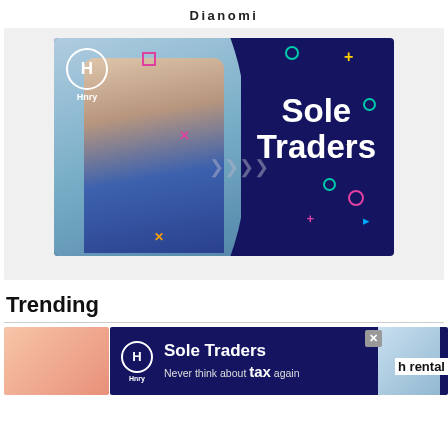Dianomi
[Figure (illustration): Hnry Sole Traders advertisement banner. A smiling woman in a blue floral dress sits at a desk with a laptop. The left half shows her photo with a light blue background. The right half has a dark navy background with the Hnry logo (H in a circle) and bold white text reading 'Sole Traders'. Colorful decorative shapes (plus signs, circles, dots) are scattered around.]
Trending
[Figure (illustration): Bottom advertisement bar for Hnry Sole Traders. Shows the Hnry logo, 'Sole Traders' title text, and subtitle 'Never think about tax again' with 'tax' in large bold white text. A close button (X) is shown. Right side shows a partial photo of a woman in a blue dress with text 'h rental' partially visible.]